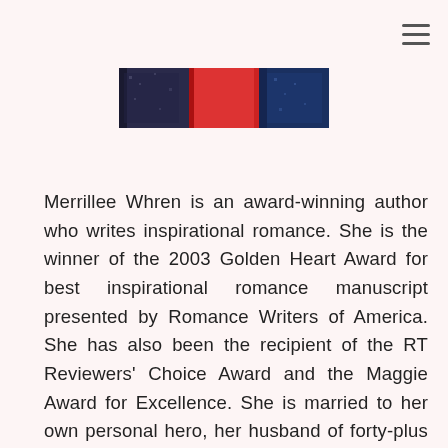[Figure (photo): Partial view of book covers showing dark navy, red, and blue spine/cover colors]
Merrillee Whren is an award-winning author who writes inspirational romance. She is the winner of the 2003 Golden Heart Award for best inspirational romance manuscript presented by Romance Writers of America. She has also been the recipient of the RT Reviewers' Choice Award and the Maggie Award for Excellence. She is married to her own personal hero, her husband of forty-plus years, and has two grown daughters. She has lived in Atlanta, Boston, Dallas, Chicago and Florida but now makes her home in the Arizona desert. When she's not writing or working for her husband's recruiting firm, she spends her free time playing tennis or walking while she does the plotting for her novels. Please visit her Web site at http://www.merrilleewhren.com or connect with her on Facebook at https://www.facebook.com/MerrilleeWhren.Author. You can